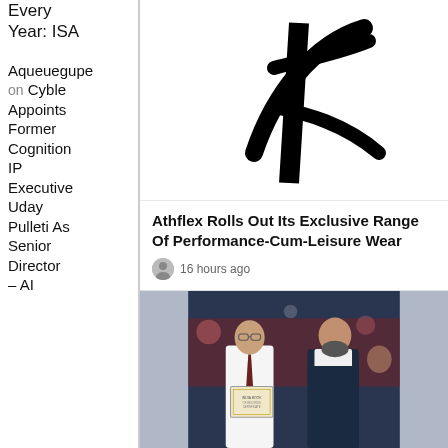Every Year: ISA
Aqueuegupe on Cyble Appoints Former Cognition IP Executive Uday Pulleti As Senior Director – AI
[Figure (logo): Athflex logo — a stylized black letter A mark on white background]
Athflex Rolls Out Its Exclusive Range Of Performance-Cum-Leisure Wear
16 hours ago
[Figure (photo): Two men at an event, one in white shirt with tie holding a framed certificate, the other in dark vest, with more people visible in the background]